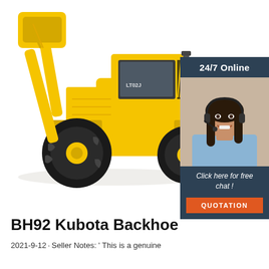[Figure (photo): Yellow wheel loader / backhoe machine (LT02J) on white background, viewed from front-left side]
[Figure (photo): Customer service widget: dark blue panel with '24/7 Online' text at top, photo of smiling brunette woman with headset in center, 'Click here for free chat!' text and orange QUOTATION button at bottom]
BH92 Kubota Backhoe
2021-9-12u2002·u2002Seller Notes: ' This is a genuine